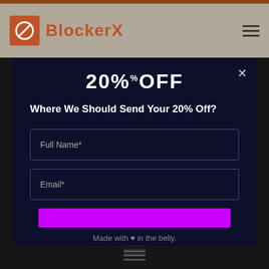BlockerX
20%OFF
Where We Should Send Your 20% Off?
Full Name*
Email*
Made with ❤ in the belly.